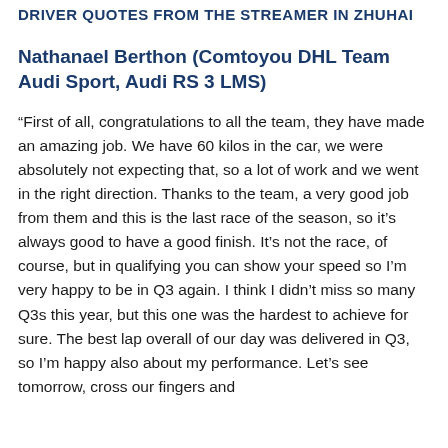DRIVER QUOTES FROM THE STREAMER IN ZHUHAI
Nathanael Berthon (Comtoyou DHL Team Audi Sport, Audi RS 3 LMS)
“First of all, congratulations to all the team, they have made an amazing job. We have 60 kilos in the car, we were absolutely not expecting that, so a lot of work and we went in the right direction. Thanks to the team, a very good job from them and this is the last race of the season, so it’s always good to have a good finish. It’s not the race, of course, but in qualifying you can show your speed so I’m very happy to be in Q3 again. I think I didn’t miss so many Q3s this year, but this one was the hardest to achieve for sure. The best lap overall of our day was delivered in Q3, so I’m happy also about my performance. Let’s see tomorrow, cross our fingers and